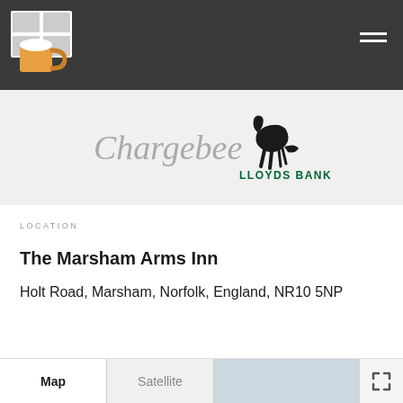[Figure (logo): Beer mug / pub finder app logo in dark header navigation bar]
[Figure (logo): Chargebee logo (italic script) and Lloyds Bank logo with black horse icon on light gray sponsor strip]
LOCATION
The Marsham Arms Inn
Holt Road, Marsham, Norfolk, England, NR10 5NP
[Figure (map): Google Maps embed showing map and satellite toggle buttons at bottom of page, with expand icon]